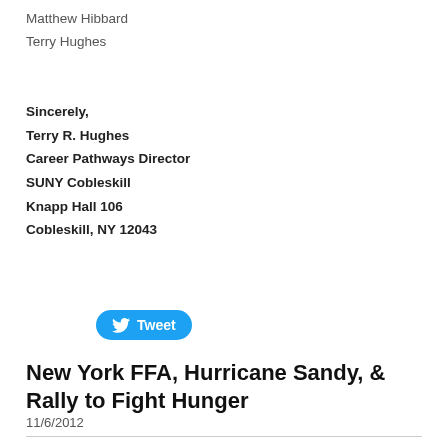Matthew Hibbard
Terry Hughes
Sincerely,
Terry R. Hughes
Career Pathways Director
SUNY Cobleskill
Knapp Hall 106
Cobleskill, NY 12043
[Figure (other): Twitter Tweet button with bird icon]
New York FFA, Hurricane Sandy, & Rally to Fight Hunger
11/6/2012